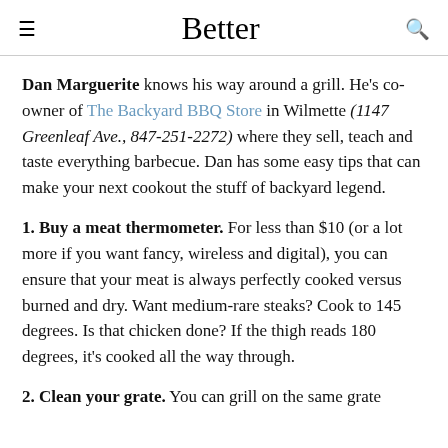Better
Dan Marguerite knows his way around a grill. He's co-owner of The Backyard BBQ Store in Wilmette (1147 Greenleaf Ave., 847-251-2272) where they sell, teach and taste everything barbecue. Dan has some easy tips that can make your next cookout the stuff of backyard legend.
1. Buy a meat thermometer. For less than $10 (or a lot more if you want fancy, wireless and digital), you can ensure that your meat is always perfectly cooked versus burned and dry. Want medium-rare steaks? Cook to 145 degrees. Is that chicken done? If the thigh reads 180 degrees, it's cooked all the way through.
2. Clean your grate. You can grill on the same grate...